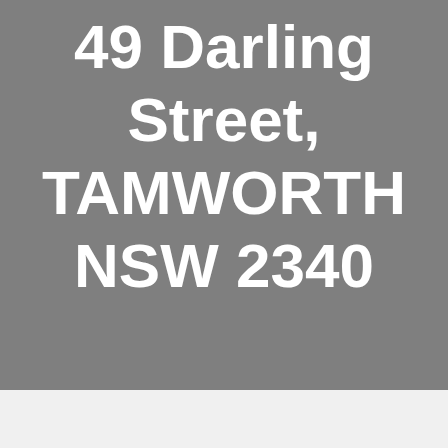49 Darling Street, TAMWORTH NSW 2340